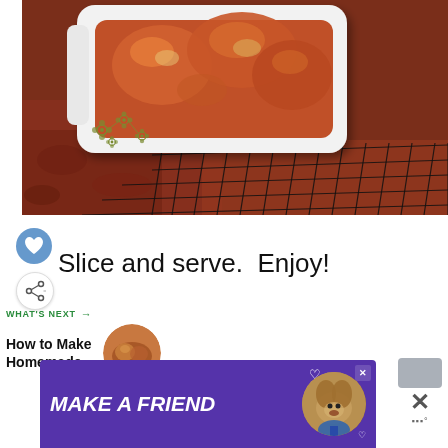[Figure (photo): A white ceramic casserole dish with olive green flower decorations containing baked/roasted food (appears to be a meat or bread dish), sitting on a black wire cooling rack over a red patterned cloth/tablecloth]
Slice and serve.  Enjoy!
WHAT'S NEXT → How to Make Homemade...
[Figure (photo): Thumbnail image of homemade bread or rolls, circular crop]
[Figure (photo): Advertisement banner: MAKE A FRIEND with a dog image, purple background]